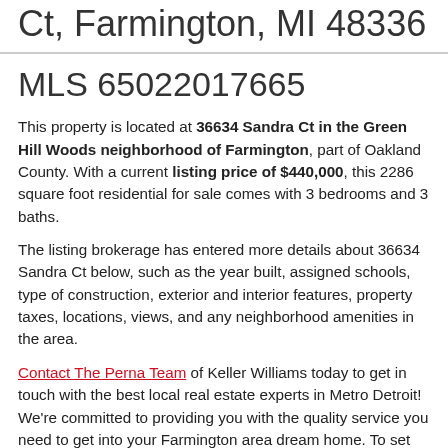Ct, Farmington, MI 48336
MLS 65022017665
This property is located at 36634 Sandra Ct in the Green Hill Woods neighborhood of Farmington, part of Oakland County. With a current listing price of $440,000, this 2286 square foot residential for sale comes with 3 bedrooms and 3 baths.
The listing brokerage has entered more details about 36634 Sandra Ct below, such as the year built, assigned schools, type of construction, exterior and interior features, property taxes, locations, views, and any neighborhood amenities in the area.
Contact The Perna Team of Keller Williams today to get in touch with the best local real estate experts in Metro Detroit! We're committed to providing you with the quality service you need to get into your Farmington area dream home. To set up